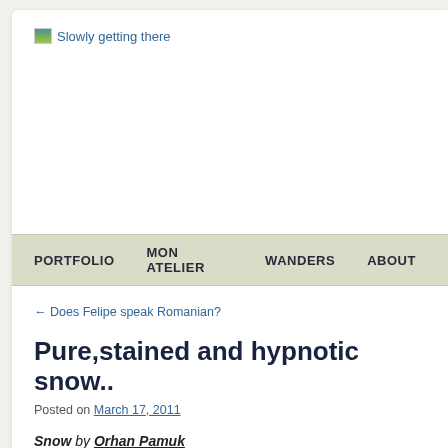Slowly getting there
PORTFOLIO   MON ATELIER   WANDERS   ABOUT
← Does Felipe speak Romanian?
Pure,stained and hypnotic snow..
Posted on March 17, 2011
Snow by Orhan Pamuk